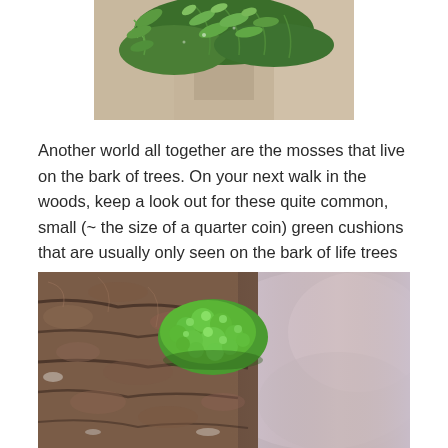[Figure (photo): Close-up photograph of green fern or moss foliage with delicate leaflets, partially visible at top of page]
Another world all together are the mosses that live on the bark of trees. On your next walk in the woods, keep a look out for these quite common, small (~ the size of a quarter coin) green cushions that are usually only seen on the bark of life trees and often conveniently located at eye level.
[Figure (photo): Close-up photograph of tree bark (brown, textured) with a small bright green moss cushion growing on it, with blurred background]